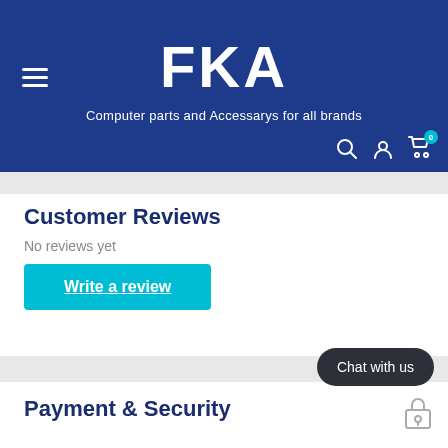FKA — Computer parts and Accessarys for all brands
Customer Reviews
No reviews yet
Write a review
Chat with us
Payment & Security